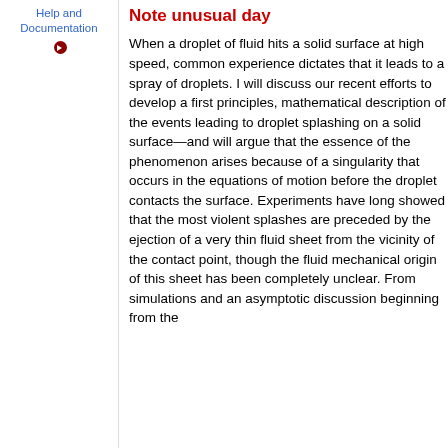Help and Documentation
Note unusual day
When a droplet of fluid hits a solid surface at high speed, common experience dictates that it leads to a spray of droplets. I will discuss our recent efforts to develop a first principles, mathematical description of the events leading to droplet splashing on a solid surface—and will argue that the essence of the phenomenon arises because of a singularity that occurs in the equations of motion before the droplet contacts the surface. Experiments have long showed that the most violent splashes are preceded by the ejection of a very thin fluid sheet from the vicinity of the contact point, though the fluid mechanical origin of this sheet has been completely unclear. From simulations and an asymptotic discussion beginning from the